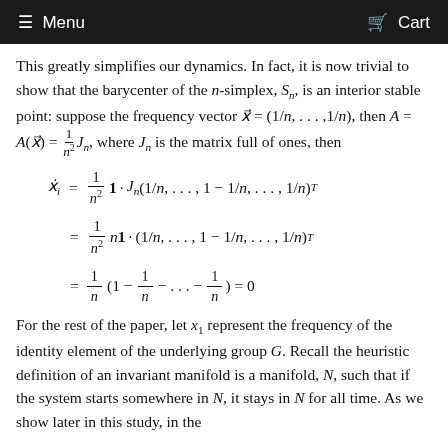≡ Menu   🛒 Cart
This greatly simplifies our dynamics. In fact, it is now trivial to show that the barycenter of the n-simplex, S_n, is an interior stable point: suppose the frequency vector x⃗ = (1/n,...,1/n), then A = A(x⃗) = (1/n²)J_n, where J_n is the matrix full of ones, then
For the rest of the paper, let x_1 represent the frequency of the identity element of the underlying group G. Recall the heuristic definition of an invariant manifold is a manifold, N, such that if the system starts somewhere in N, it stays in N for all time. As we show later in this study, in the...